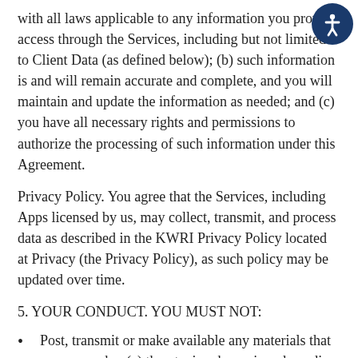with all laws applicable to any information you provide access through the Services, including but not limited to Client Data (as defined below); (b) such information is and will remain accurate and complete, and you will maintain and update the information as needed; and (c) you have all necessary rights and permissions to authorize the processing of such information under this Agreement.
Privacy Policy. You agree that the Services, including Apps licensed by us, may collect, transmit, and process data as described in the KWRI Privacy Policy located at Privacy (the Privacy Policy), as such policy may be updated over time.
5. YOUR CONDUCT. YOU MUST NOT:
Post, transmit or make available any materials that are or may be: (a) threatening, harassing, degrading, hateful or intimidating, or otherwise fail to respect the rights and dignity of others; (b) defamatory, libelous, fraudulent or